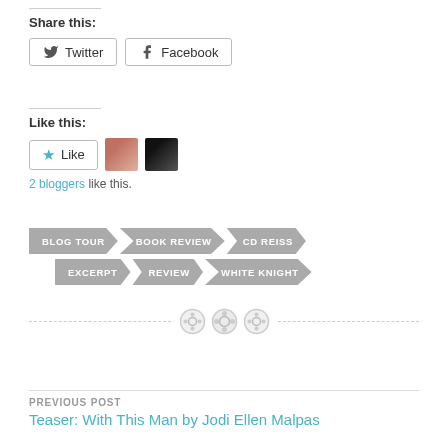Share this:
Twitter  Facebook
Like this:
Like  2 bloggers like this.
BLOG TOUR
BOOK REVIEW
CD REISS
EXCERPT
REVIEW
WHITE KNIGHT
PREVIOUS POST
Teaser: With This Man by Jodi Ellen Malpas